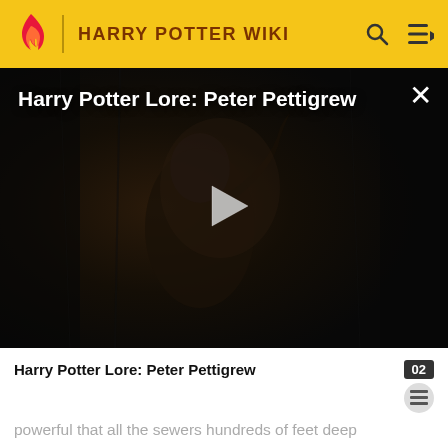HARRY POTTER WIKI
[Figure (screenshot): Video player showing dark scene with a cloaked figure, titled 'Harry Potter Lore: Peter Pettigrew' with a play button in the center and close (×) button top right.]
Harry Potter Lore: Peter Pettigrew
powerful that all the sewers hundreds of feet deep were completely destroyed. Fourteen years later, he was able to effectively use the Killing Curse (one of the three Unforgivable Curses that requires a